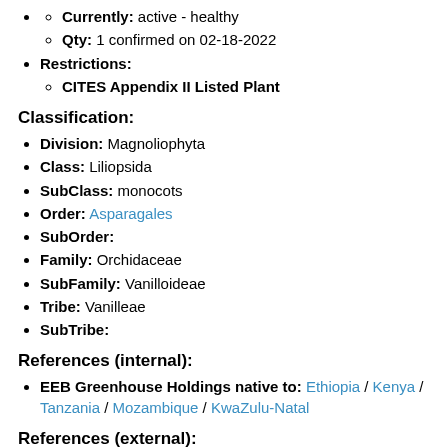Currently: active - healthy
Qty: 1 confirmed on 02-18-2022
Restrictions:
CITES Appendix II Listed Plant
Classification:
Division: Magnoliophyta
Class: Liliopsida
SubClass: monocots
Order: Asparagales
SubOrder:
Family: Orchidaceae
SubFamily: Vanilloideae
Tribe: Vanilleae
SubTribe:
References (internal):
EEB Greenhouse Holdings native to: Ethiopia / Kenya / Tanzania / Mozambique / KwaZulu-Natal
References (external):
The Plant List (2013). Version 1.1. Accessed 28 July 2014.
WCSP (2014). World Checklist of Selected Plant Families. Facilitated...